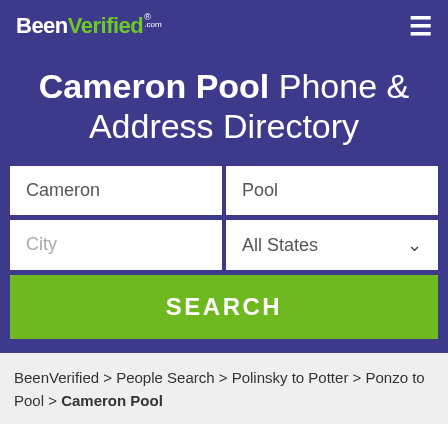BeenVerified.com [hamburger menu icon]
Cameron Pool Phone & Address Directory
Cameron [first name field] | Pool [last name field] | City [city field] | All States [state dropdown] | SEARCH [button]
BeenVerified > People Search > Polinsky to Potter > Ponzo to Pool > Cameron Pool